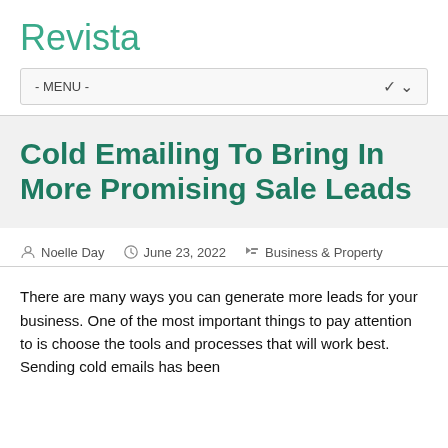Revista
- MENU -
Cold Emailing To Bring In More Promising Sale Leads
Noelle Day   June 23, 2022   Business & Property
There are many ways you can generate more leads for your business. One of the most important things to pay attention to is choose the tools and processes that will work best. Sending cold emails has been